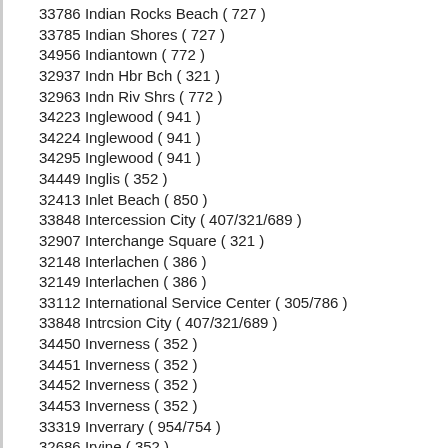33786 Indian Rocks Beach ( 727 )
33785 Indian Shores ( 727 )
34956 Indiantown ( 772 )
32937 Indn Hbr Bch ( 321 )
32963 Indn Riv Shrs ( 772 )
34223 Inglewood ( 941 )
34224 Inglewood ( 941 )
34295 Inglewood ( 941 )
34449 Inglis ( 352 )
32413 Inlet Beach ( 850 )
33848 Intercession City ( 407/321/689 )
32907 Interchange Square ( 321 )
32148 Interlachen ( 386 )
32149 Interlachen ( 386 )
33112 International Service Center ( 305/786 )
33848 Intrcsion City ( 407/321/689 )
34450 Inverness ( 352 )
34451 Inverness ( 352 )
34452 Inverness ( 352 )
34453 Inverness ( 352 )
33319 Inverrary ( 954/754 )
32686 Irvine ( 352 )
33036 Islamorada ( 305/786 )
33070 Islamorada ( 305/786 )
32654 Island Grove ( 352 )
34636 Istachatta ( 352 )
32099 Jacksonville ( 904 )